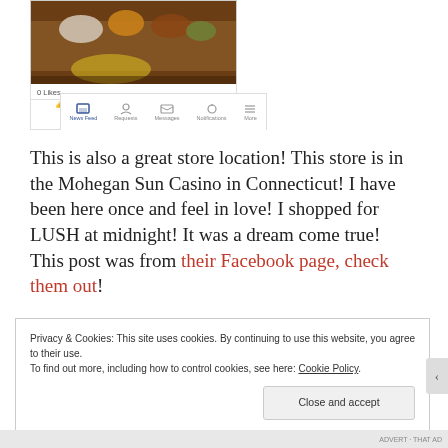[Figure (screenshot): Screenshot of a Facebook mobile app showing a food/restaurant post photo with a wooden table displaying food items, with 0 Likes shown, and the Facebook mobile navigation bar at the bottom with News Feed, Requests, Messages, Notifications, More icons]
This is also a great store location! This store is in the Mohegan Sun Casino in Connecticut! I have been here once and feel in love! I shopped for LUSH at midnight! It was a dream come true! This post was from their Facebook page, check them out!
Privacy & Cookies: This site uses cookies. By continuing to use this website, you agree to their use.
To find out more, including how to control cookies, see here: Cookie Policy
Close and accept